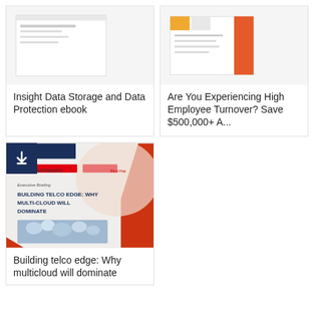[Figure (illustration): Thumbnail image for Insight Data Storage and Data Protection ebook]
Insight Data Storage and Data Protection ebook
[Figure (illustration): Thumbnail image with orange/yellow blocks for Are You Experiencing High Employee Turnover? Save $500,000+ A...]
Are You Experiencing High Employee Turnover? Save $500,000+ A...
[Figure (illustration): Cover of Building Telco Edge: Why Multi-Cloud Will Dominate executive briefing by SRC Partners and Red Hat]
Building telco edge: Why multicloud will dominate